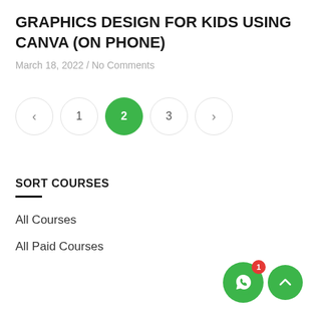GRAPHICS DESIGN FOR KIDS USING CANVA (ON PHONE)
March 18, 2022 / No Comments
[Figure (other): Pagination controls showing previous arrow, page 1, page 2 (active/green), page 3, and next arrow]
SORT COURSES
All Courses
All Paid Courses
[Figure (other): WhatsApp floating button with red badge showing 1 notification, and a green scroll-to-top arrow button]